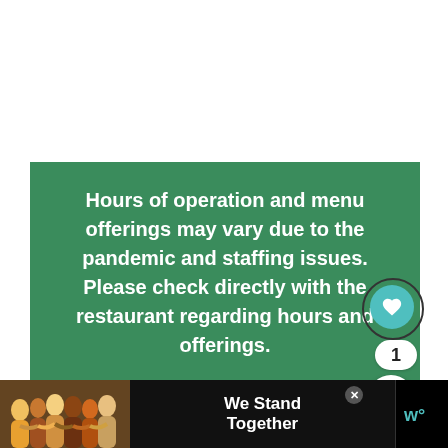Hours of operation and menu offerings may vary due to the pandemic and staffing issues. Please check directly with the restaurant regarding hours and offerings.
[Figure (screenshot): A UI overlay showing a teal heart/like button with circle outline, a count badge showing '1', and a share button]
[Figure (photo): Advertisement banner at the bottom: black background, group of diverse people with arms around each other, text reading 'We Stand Together', small logo in bottom right corner]